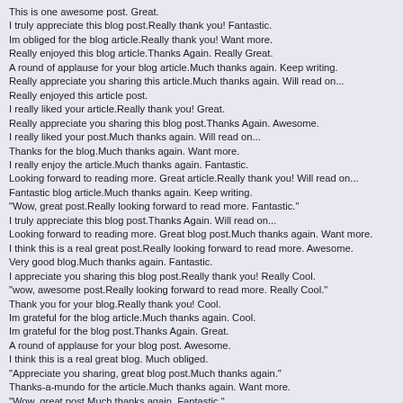This is one awesome post. Great.
I truly appreciate this blog post.Really thank you! Fantastic.
Im obliged for the blog article.Really thank you! Want more.
Really enjoyed this blog article.Thanks Again. Really Great.
A round of applause for your blog article.Much thanks again. Keep writing.
Really appreciate you sharing this article.Much thanks again. Will read on...
Really enjoyed this article post.
I really liked your article.Really thank you! Great.
Really appreciate you sharing this blog post.Thanks Again. Awesome.
I really liked your post.Much thanks again. Will read on...
Thanks for the blog.Much thanks again. Want more.
I really enjoy the article.Much thanks again. Fantastic.
Looking forward to reading more. Great article.Really thank you! Will read on...
Fantastic blog article.Much thanks again. Keep writing.
"Wow, great post.Really looking forward to read more. Fantastic."
I truly appreciate this blog post.Thanks Again. Will read on...
Looking forward to reading more. Great blog post.Much thanks again. Want more.
I think this is a real great post.Really looking forward to read more. Awesome.
Very good blog.Much thanks again. Fantastic.
I appreciate you sharing this blog post.Really thank you! Really Cool.
"wow, awesome post.Really looking forward to read more. Really Cool."
Thank you for your blog.Really thank you! Cool.
Im grateful for the blog article.Much thanks again. Cool.
Im grateful for the blog post.Thanks Again. Great.
A round of applause for your blog post. Awesome.
I think this is a real great blog. Much obliged.
"Appreciate you sharing, great blog post.Much thanks again."
Thanks-a-mundo for the article.Much thanks again. Want more.
"Wow, great post.Much thanks again. Fantastic."
I loved your article post. Fantastic.
Great blog.Really thank you!
Thanks so much for the post.Really looking forward to read more. Want more.
Thanks-a-mundo for the blog.Really looking forward to read more. Want more.
Muchos Gracias for your article post.Thanks Again. Really Great.
"Wow, great post.Much thanks again. Much obliged."
A round of applause for your blog post.Thanks Again. Really Great.
Thanks a lot for the post.Really looking forward to read more. Awesome.
Really informative article. Much obliged.